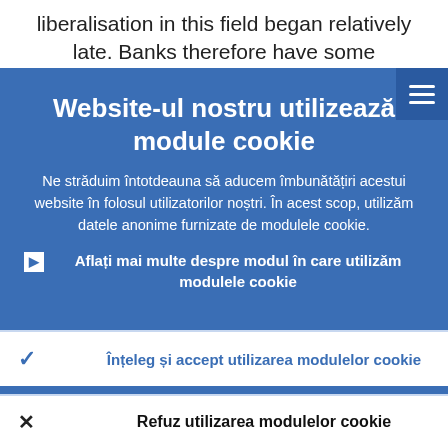liberalisation in this field began relatively late. Banks therefore have some concerns
Website-ul nostru utilizează module cookie
Ne străduim întotdeauna să aducem îmbunătățiri acestui website în folosul utilizatorilor noștri. În acest scop, utilizăm datele anonime furnizate de modulele cookie.
Aflați mai multe despre modul în care utilizăm modulele cookie
Înțeleg și accept utilizarea modulelor cookie
Refuz utilizarea modulelor cookie